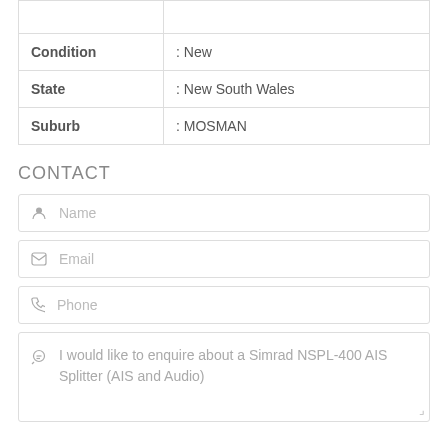| Field | Value |
| --- | --- |
| Condition | : New |
| State | : New South Wales |
| Suburb | : MOSMAN |
CONTACT
Name
Email
Phone
I would like to enquire about a Simrad NSPL-400 AIS Splitter (AIS and Audio)